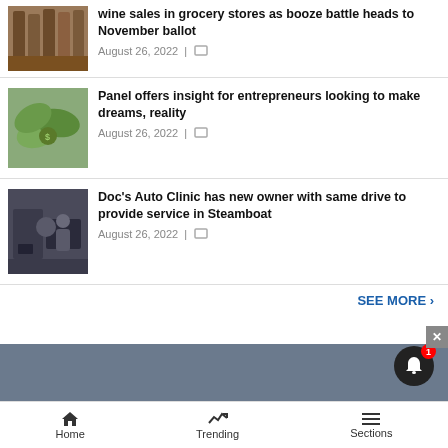wine sales in grocery stores as booze battle heads to November ballot
August 26, 2022 |
Panel offers insight for entrepreneurs looking to make dreams, reality
August 26, 2022 |
Doc's Auto Clinic has new owner with same drive to provide service in Steamboat
August 26, 2022 |
SEE MORE ›
Home | Trending | Sections